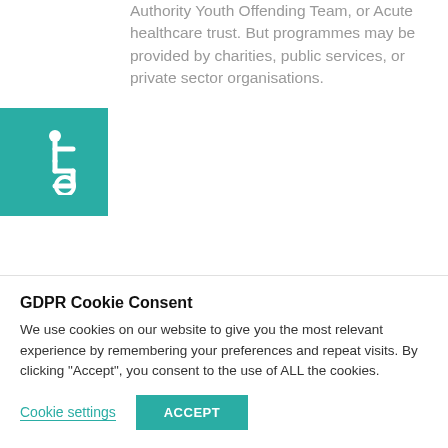Authority Youth Offending Team, or Acute healthcare trust. But programmes may be provided by charities, public services, or private sector organisations.
[Figure (illustration): Teal/green square with white wheelchair accessibility icon]
4. They must be programmes that have sufficient scale and evidence of impact to run a large-scale efficacy and/or effectiveness evaluation, or that require a pilot study, but that could be ready for
GDPR Cookie Consent
We use cookies on our website to give you the most relevant experience by remembering your preferences and repeat visits. By clicking "Accept", you consent to the use of ALL the cookies.
Cookie settings | ACCEPT